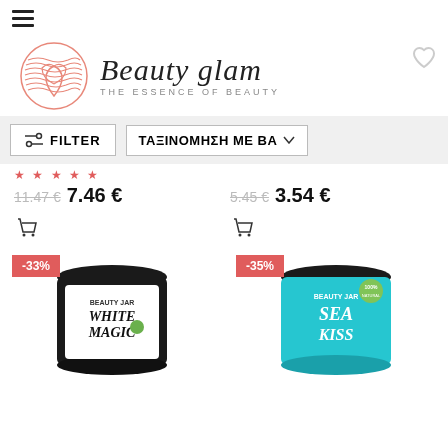[Figure (logo): Beauty glam logo with circular emblem and text 'THE ESSENCE OF BEAUTY']
FILTER
ΤΑΞΙΝΟΜΗΣΗ ΜΕ ΒΑ
11.47 € 7.46 €
5.45 € 3.54 €
[Figure (photo): Beauty Jar White Magic product in black container with white label]
[Figure (photo): Beauty Jar Sea Kissed product in teal/turquoise container]
-33%
-35%